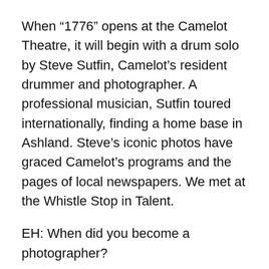When “1776” opens at the Camelot Theatre, it will begin with a drum solo by Steve Sutfin, Camelot’s resident drummer and photographer. A professional musician, Sutfin toured internationally, finding a home base in Ashland. Steve’s iconic photos have graced Camelot’s programs and the pages of local newspapers. We met at the Whistle Stop in Talent.
EH: When did you become a photographer?
SS: As a professional musician, I took up photography so I could starve in a second art form.
EH: You contribute your time and talent to the Camelot Theatre. Why?
SS: I believe in the theater. I love playing music in the theater. I’ve been in bands for 45 years, playing rock ‘n’